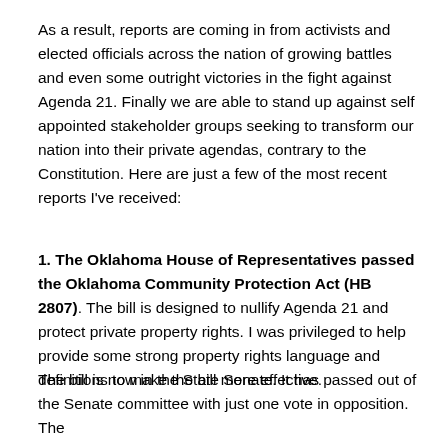As a result, reports are coming in from activists and elected officials across the nation of growing battles and even some outright victories in the fight against Agenda 21. Finally we are able to stand up against self appointed stakeholder groups seeking to transform our nation into their private agendas, contrary to the Constitution. Here are just a few of the most recent reports I've received:
1. The Oklahoma House of Representatives passed the Oklahoma Community Protection Act (HB 2807). The bill is designed to nullify Agenda 21 and protect private property rights. I was privileged to help provide some strong property rights language and definitions to make the bill more effective.
The bill is now in the State Senate. It has passed out of the Senate committee with just one vote in opposition. The